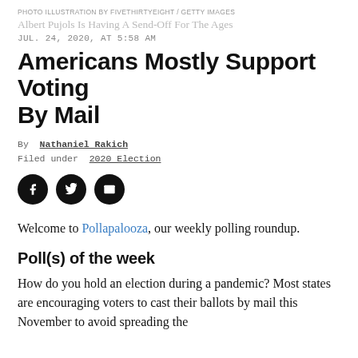PHOTO ILLUSTRATION BY FIVETHIRTYEIGHT / GETTY IMAGES
Albert Pujols Is Having A Send-Off For The Ages
JUL. 24, 2020, AT 5:58 AM
Americans Mostly Support Voting By Mail
By Nathaniel Rakich
Filed under 2020 Election
[Figure (other): Social sharing icons: Facebook, Twitter, Email]
Welcome to Pollapalooza, our weekly polling roundup.
Poll(s) of the week
How do you hold an election during a pandemic? Most states are encouraging voters to cast their ballots by mail this November to avoid spreading the